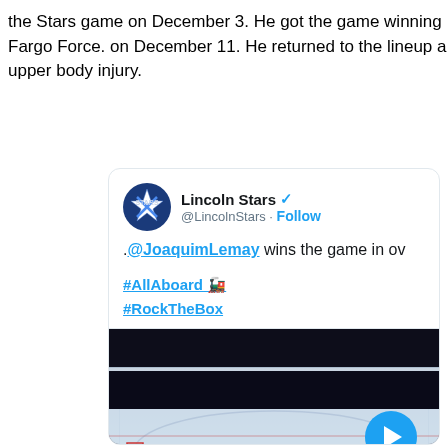the Stars game on December 3. He got the game winning goal against the Fargo Force. on December 11. He returned to the lineup after missing time with an upper body injury.
[Figure (screenshot): Embedded tweet from @LincolnStars with text '.@JoaquimLemay wins the game in ov...' and hashtags #AllAboard and #RockTheBox, with a video thumbnail showing a hockey game scoreboard (2-2 OT 03:06) and a play button overlay.]